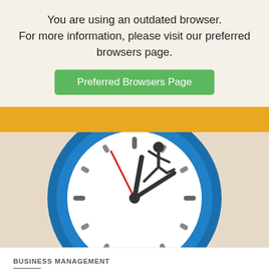You are using an outdated browser. For more information, please visit our preferred browsers page.
Preferred Browsers Page
[Figure (illustration): Yellow horizontal banner strip]
[Figure (illustration): A cartoon clock face with blue border showing clock hands, tick marks, and a small running figure on top]
BUSINESS MANAGEMENT
7 SIGNS YOU'RE NOT